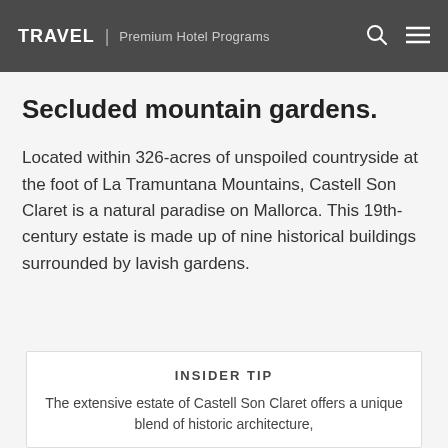TRAVEL | Premium Hotel Programs
Secluded mountain gardens.
Located within 326-acres of unspoiled countryside at the foot of La Tramuntana Mountains, Castell Son Claret is a natural paradise on Mallorca. This 19th-century estate is made up of nine historical buildings surrounded by lavish gardens.
INSIDER TIP
The extensive estate of Castell Son Claret offers a unique blend of historic architecture,